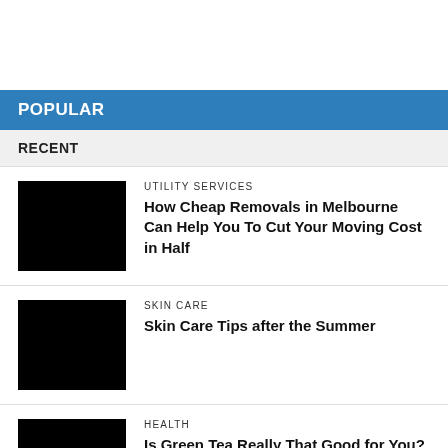POPULAR
RECENT
UTILITY SERVICES
How Cheap Removals in Melbourne Can Help You To Cut Your Moving Cost in Half
[Figure (photo): Black thumbnail image for the utility services article]
SKIN CARE
Skin Care Tips after the Summer
[Figure (photo): Black thumbnail image for the skin care article]
HEALTH
Is Green Tea Really That Good for You?
[Figure (photo): Black thumbnail image for the health article]